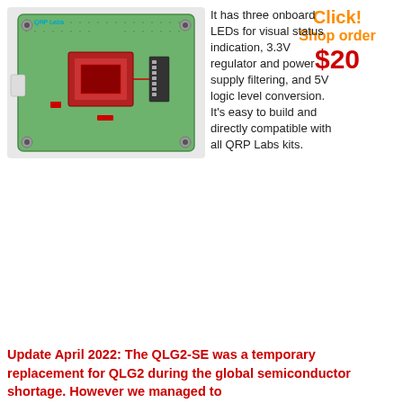[Figure (photo): PCB board photo labeled QRP Labs, showing a green circuit board with red components, mounted with screws at corners]
Click!
Shop order
$20
It has three onboard LEDs for visual status indication, 3.3V regulator and power supply filtering, and 5V logic level conversion. It's easy to build and directly compatible with all QRP Labs kits.
Update April 2022: The QLG2-SE was a temporary replacement for QLG2 during the global semiconductor shortage. However we managed to